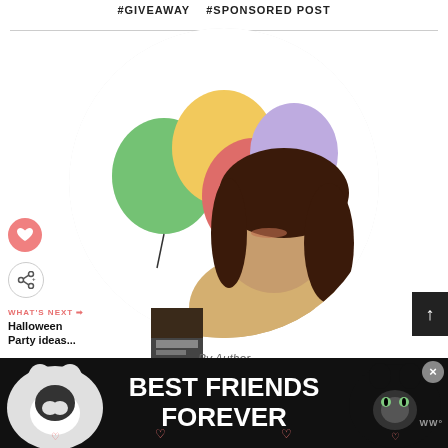#GIVEAWAY  #SPONSORED POST
[Figure (photo): Woman smiling holding colorful balloons (green, yellow, red, purple) in a circular cropped photo]
[Figure (photo): WHAT'S NEXT arrow Halloween Party ideas... with thumbnail image]
By Author
CRISTINA RICHES AKA BIRD
[Figure (photo): BEST FRIENDS FOREVER advertisement banner with two cats]